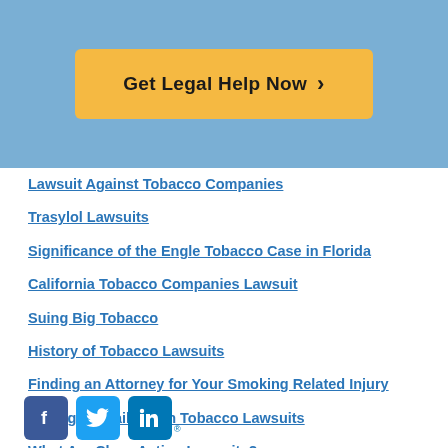[Figure (other): Blue header banner with orange 'Get Legal Help Now >' button]
Lawsuit Against Tobacco Companies
Trasylol Lawsuits
Significance of the Engle Tobacco Case in Florida
California Tobacco Companies Lawsuit
Suing Big Tobacco
History of Tobacco Lawsuits
Finding an Attorney for Your Smoking Related Injury
Damages Available in Tobacco Lawsuits
What Are Class Action Lawsuits?
Class Action Tobacco Lawsuits
[Figure (logo): Social media icons: Facebook, Twitter, LinkedIn]